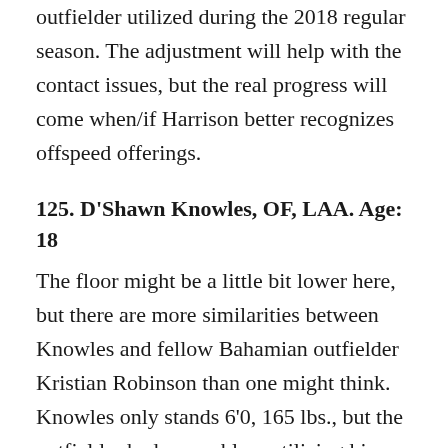outfielder utilized during the 2018 regular season. The adjustment will help with the contact issues, but the real progress will come when/if Harrison better recognizes offspeed offerings.
125. D'Shawn Knowles, OF, LAA. Age: 18
The floor might be a little bit lower here, but there are more similarities between Knowles and fellow Bahamian outfielder Kristian Robinson than one might think. Knowles only stands 6'0, 165 lbs., but the outfielder had no problem utilizing his power last summer, hitting 5 home